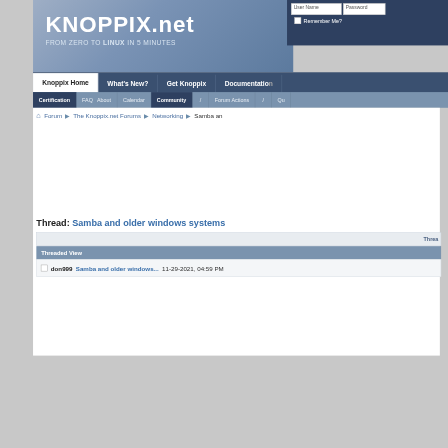[Figure (screenshot): KNOPPIX.net website header banner with logo text 'KNOPPIX.net' and tagline 'FROM ZERO TO LINUX IN 5 MINUTES' on a blue-grey gradient background]
User Name  Password  Remember Me?
Knoppix Home | What's New? | Get Knoppix | Documentation
Certification | FAQ | About | Calendar | Community / Forum Actions / Q...
Forum ▶ The Knoppix.net Forums ▶ Networking ▶ Samba an...
Thread: Samba and older windows systems
Threa...
Threaded View
don999 Samba and older windows... 11-29-2021, 04:59 PM